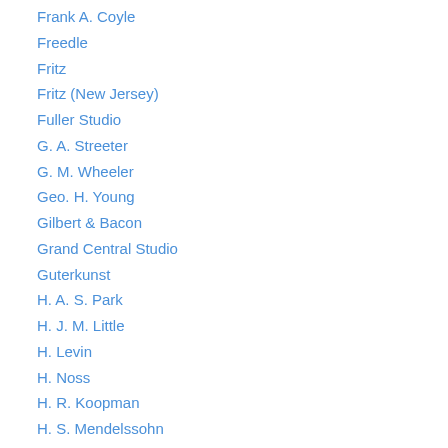Frank A. Coyle
Freedle
Fritz
Fritz (New Jersey)
Fuller Studio
G. A. Streeter
G. M. Wheeler
Geo. H. Young
Gilbert & Bacon
Grand Central Studio
Guterkunst
H. A. S. Park
H. J. M. Little
H. Levin
H. Noss
H. R. Koopman
H. S. Mendelssohn
Haines & Wickes Photographers
Hardy & Van Arnam
Harrington's New Gallery